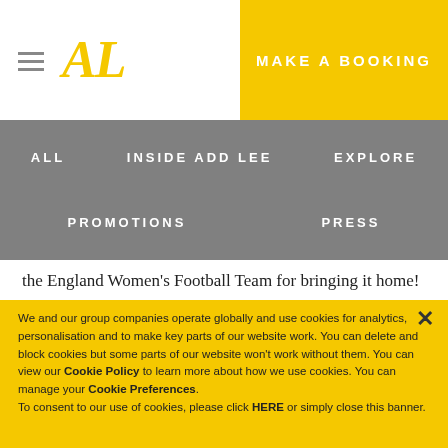[Figure (logo): AL logo in yellow italic serif font with hamburger menu icon]
MAKE A BOOKING
ALL   INSIDE ADD LEE   EXPLORE   PROMOTIONS   PRESS
the England Women's Football Team for bringing it home! It was great ...
READ MORE...
We and our group companies operate globally and use cookies for analytics, personalisation and to make key parts of our website work. You can delete and block cookies but some parts of our website won't work without them. You can view our Cookie Policy to learn more about how we use cookies. You can manage your Cookie Preferences. To consent to our use of cookies, please click HERE or simply close this banner.